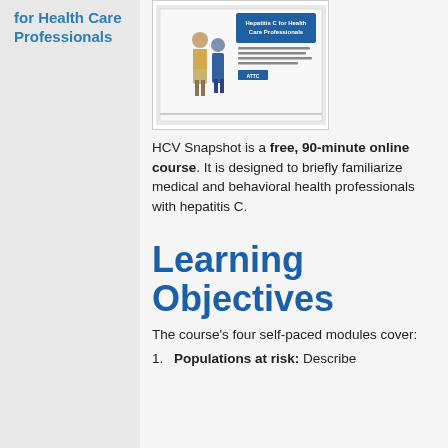for Health Care Professionals
[Figure (screenshot): Screenshot of HCV Snapshot course slide showing two people and text 'Hepatitis C for Health Care Professionals' with ATTC logo]
HCV Snapshot is a free, 90-minute online course. It is designed to briefly familiarize medical and behavioral health professionals with hepatitis C.
Learning Objectives
The course's four self-paced modules cover:
Populations at risk: Describe